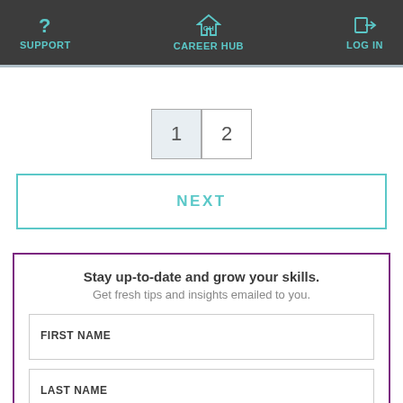SUPPORT | CAREER HUB | LOG IN
1  2
NEXT
Stay up-to-date and grow your skills. Get fresh tips and insights emailed to you.
FIRST NAME
LAST NAME